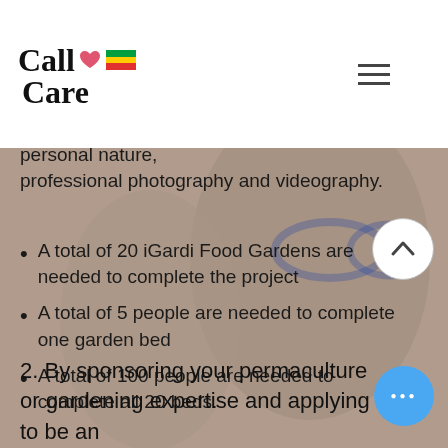[Figure (logo): Call2Care logo with stylized text, heart icon, and flag stripes]
personal nature, professional photography and videography.
A total of 20 iGardi Food Gardens are needed to complete the project
A total of 5 people are needed to complete one garden bed
A total of 100 people are needed to complete all 20 beds.
2. By sponsoring your permaculture or gardening expertise and applying to be an